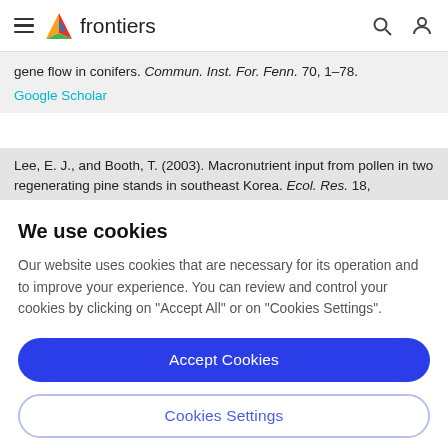frontiers (navigation bar with hamburger menu, search, and user icons)
gene flow in conifers. Commun. Inst. For. Fenn. 70, 1–78.
Google Scholar
Lee, E. J., and Booth, T. (2003). Macronutrient input from pollen in two regenerating pine stands in southeast Korea. Ecol. Res. 18,
We use cookies
Our website uses cookies that are necessary for its operation and to improve your experience. You can review and control your cookies by clicking on "Accept All" or on "Cookies Settings".
Accept Cookies
Cookies Settings